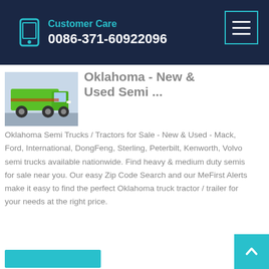Customer Care
0086-371-60922096
Oklahoma - New & Used Semi ...
Oklahoma Semi Trucks / Tractors for Sale - New & Used - Mack, Ford, International, DongFeng, Sterling, Peterbilt, Kenworth, Volvo semi trucks available nationwide. Find heavy & medium duty semis for sale near you. Our easy Zip Code Search and our MeFirst Alerts make it easy to find the perfect Oklahoma truck tractor / trailer for your needs at the right price.
[Figure (photo): Photo of a green semi truck / tractor vehicle]